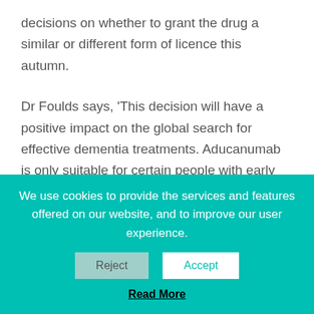decisions on whether to grant the drug a similar or different form of licence this autumn.
Dr Foulds says, 'This decision will have a positive impact on the global search for effective dementia treatments. Aducanumab is only suitable for certain people with early Alzheimer's, so renewed focus and investment in dementia research will speed up the search for life-changing treatments for those with other dementias, and in the later stages of Alzheimer's."'
"Aducanumab will not be available for people living
We use cookies to provide the services and features offered on our website, and to improve our user experience.